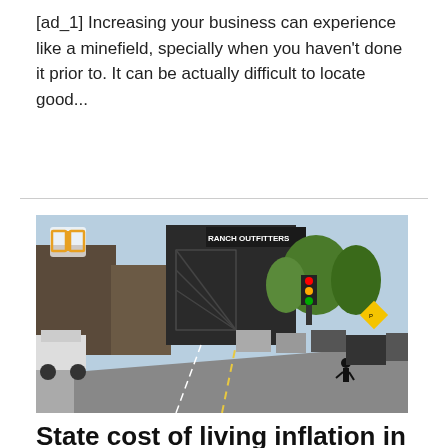[ad_1] Increasing your business can experience like a minefield, specially when you haven't done it prior to. It can be actually difficult to locate good...
[Figure (photo): Street scene of a small downtown area with shops including Ranch Outfitters, cars parked along the street, trees, traffic lights, and a person crossing the road.]
State cost of living inflation in late 2021 showed highest year-over-year increase in 40 years | Wyoming News